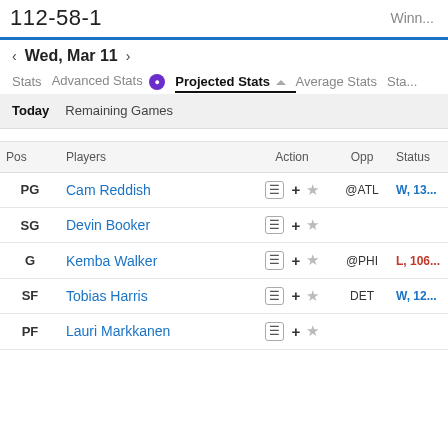112-58-1  Winn...
Wed, Mar 11
Stats  Advanced Stats  Projected Stats  Average Stats  Sta...
Today  Remaining Games
| Pos | Players | Action | Opp | Status |
| --- | --- | --- | --- | --- |
| PG | Cam Reddish | + ☆ | @ATL | W, 13... |
| SG | Devin Booker | + ☆ |  |  |
| G | Kemba Walker | + ☆ | @PHI | L, 106... |
| SF | Tobias Harris | + ☆ | DET | W, 12... |
| PF | Lauri Markkanen | + ☆ |  |  |